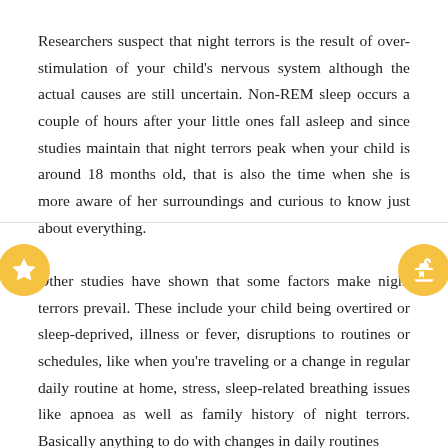Researchers suspect that night terrors is the result of over-stimulation of your child's nervous system although the actual causes are still uncertain. Non-REM sleep occurs a couple of hours after your little ones fall asleep and since studies maintain that night terrors peak when your child is around 18 months old, that is also the time when she is more aware of her surroundings and curious to know just about everything.
Other studies have shown that some factors make night terrors prevail. These include your child being overtired or sleep-deprived, illness or fever, disruptions to routines or schedules, like when you're traveling or a change in regular daily routine at home, stress, sleep-related breathing issues like apnoea as well as family history of night terrors. Basically anything to do with changes in daily routines